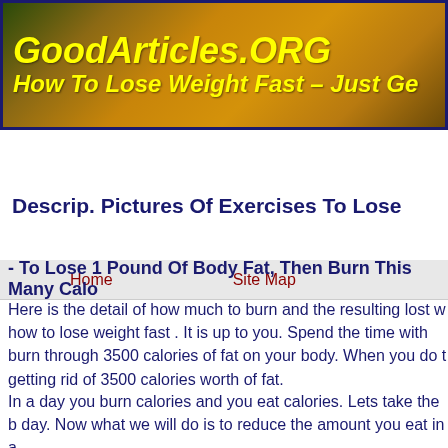[Figure (screenshot): GoodArticles.ORG website banner with autumn trees background, yellow italic bold text reading 'GoodArticles.ORG' and subtitle 'How To Lose Weight Fast – Just Ge']
Home    Site Map
Descrip. Pictures Of Exercises To Lose
- To Lose 1 Pound Of Body Fat, Then Burn This Many Calo
Here is the detail of how much to burn and the resulting lost w how to lose weight fast . It is up to you. Spend the time with burn through 3500 calories of fat on your body. When you do t getting rid of 3500 calories worth of fat.
In a day you burn calories and you eat calories. Lets take the b day. Now what we will do is to reduce the amount you eat in a